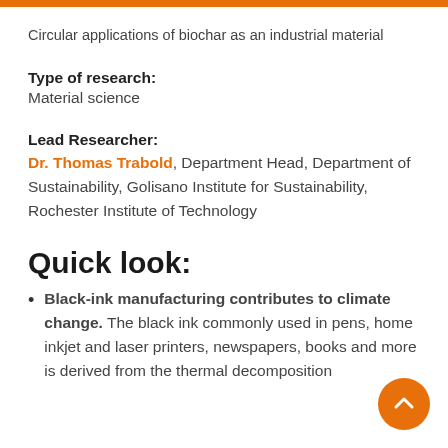Circular applications of biochar as an industrial material
Type of research:
Material science
Lead Researcher:
Dr. Thomas Trabold, Department Head, Department of Sustainability, Golisano Institute for Sustainability, Rochester Institute of Technology
Quick look:
Black-ink manufacturing contributes to climate change. The black ink commonly used in pens, home inkjet and laser printers, newspapers, books and more is derived from the thermal decomposition